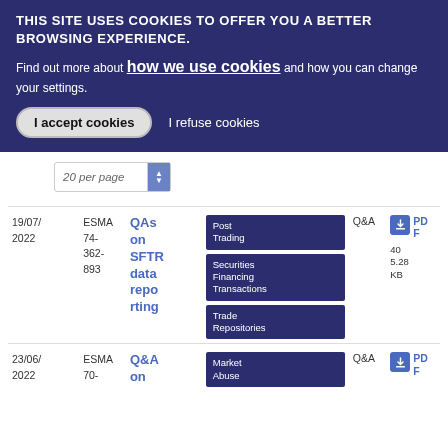THIS SITE USES COOKIES TO OFFER YOU A BETTER BROWSING EXPERIENCE.
Find out more about how we use cookies and how you can change your settings.
I accept cookies | I refuse cookies
20 per page
| Date | Reference | Title | Tags | Type | Download |
| --- | --- | --- | --- | --- | --- |
| 19/07/2022 | ESMA 74-362-893 | QAs on SFTR data reporting | Post Trading | Securities Financing Transactions | Trade Repositories | Q&A | PDF 405.28 KB |
| 23/06/2022 | ESMA 70- | Q&A on | Market Abuse | Q&A | PDF |